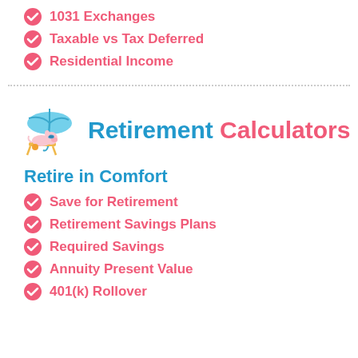1031 Exchanges
Taxable vs Tax Deferred
Residential Income
[Figure (illustration): Cartoon pig wearing sunglasses lying on a beach chair under a blue umbrella, used as section icon for Retirement Calculators]
Retirement Calculators
Retire in Comfort
Save for Retirement
Retirement Savings Plans
Required Savings
Annuity Present Value
401(k) Rollover